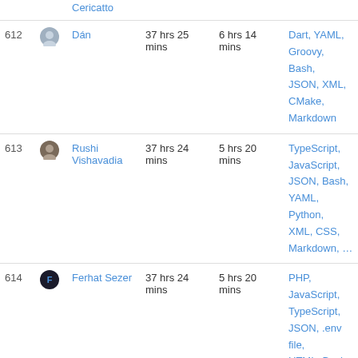| # |  | Name | Total | Daily avg | Languages |
| --- | --- | --- | --- | --- | --- |
|  | Cericatto |  |  |  |
| 612 |  | Dán | 37 hrs 25 mins | 6 hrs 14 mins | Dart, YAML, Groovy, Bash, JSON, XML, CMake, Markdown |
| 613 |  | Rushi Vishavadia | 37 hrs 24 mins | 5 hrs 20 mins | TypeScript, JavaScript, JSON, Bash, YAML, Python, XML, CSS, Markdown, ... |
| 614 |  | Ferhat Sezer | 37 hrs 24 mins | 5 hrs 20 mins | PHP, JavaScript, TypeScript, JSON, .env file, HTML, Bash, Text, Twig, ... |
| 615 |  | Ivants Aguilar | 37 hrs 23 mins | 6 hrs 13 mins | Blade Template, PHP, CSS, Bash, HTML, Java, XML |